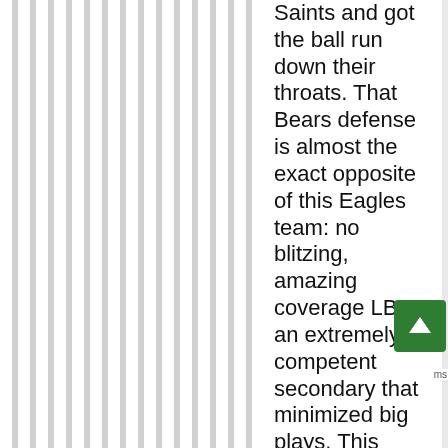Saints and got the ball run down their throats. That Bears defense is almost the exact opposite of this Eagles team: no blitzing, amazing coverage LB's, an extremely competent secondary that minimized big plays. This team has to blitz to get pressure, their LB's can't cover shit and their CB's and SS are almost hilariously prone to giving up